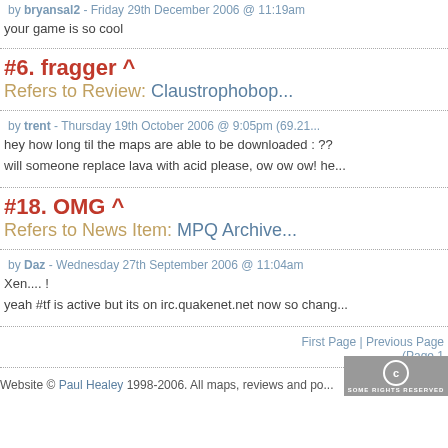by bryansal2 - Friday 29th December 2006 @ 11:19am
your game is so cool
#6. fragger ^
Refers to Review: Claustrophobop...
by trent - Thursday 19th October 2006 @ 9:05pm (69.21...
hey how long til the maps are able to be downloaded : ??
will someone replace lava with acid please, ow ow ow! he...
#18. OMG ^
Refers to News Item: MPQ Archive...
by Daz - Wednesday 27th September 2006 @ 11:04am
Xen.... !
yeah #tf is active but its on irc.quakenet.net now so chang...
First Page | Previous Page (Page 1)
Website © Paul Healey 1998-2006. All maps, reviews and po...